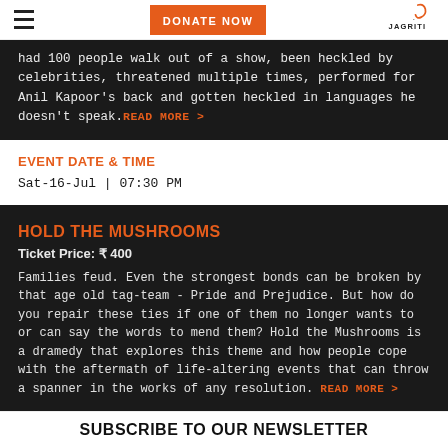DONATE NOW | JAGRITI
had 100 people walk out of a show, been heckled by celebrities, threatened multiple times, performed for Anil Kapoor's back and gotten heckled in languages he doesn't speak. READ MORE >
EVENT DATE & TIME
Sat-16-Jul | 07:30 PM
HOLD THE MUSHROOMS
Ticket Price: ₹ 400
Families feud. Even the strongest bonds can be broken by that age old tag-team - Pride and Prejudice. But how do you repair these ties if one of them no longer wants to or can say the words to mend them? Hold the Mushrooms is a dramedy that explores this theme and how people cope with the aftermath of life-altering events that can throw a spanner in the works of any resolution. READ MORE >
SUBSCRIBE TO OUR NEWSLETTER